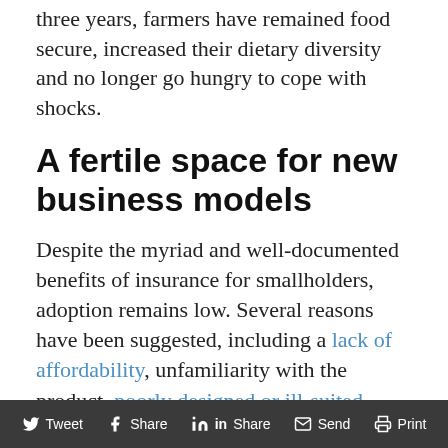three years, farmers have remained food secure, increased their dietary diversity and no longer go hungry to cope with shocks.
A fertile space for new business models
Despite the myriad and well-documented benefits of insurance for smallholders, adoption remains low. Several reasons have been suggested, including a lack of affordability, unfamiliarity with the product, poorly designed or ill-suited products and a lack of trust in the insurance provider; however, none of them
Tweet  Share  Share  Send  Print